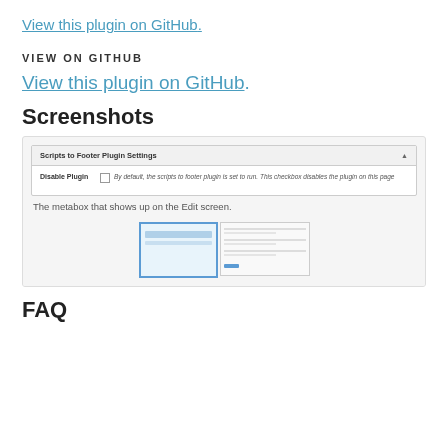View this plugin on GitHub.
VIEW ON GITHUB
View this plugin on GitHub.
Screenshots
[Figure (screenshot): Screenshot of Scripts to Footer Plugin Settings metabox with a 'Disable Plugin' checkbox and description text. Below: caption 'The metabox that shows up on the Edit screen.' and two thumbnail images of the plugin interface.]
FAQ